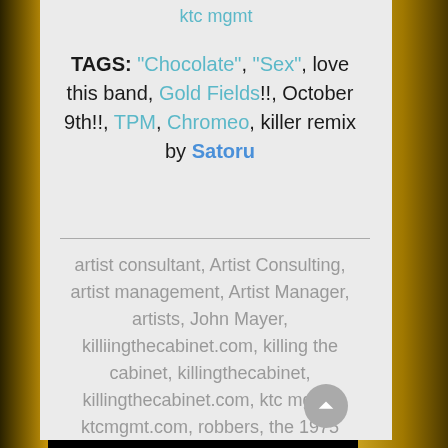ktc mgmt
TAGS: "Chocolate", "Sex", love this band, Gold Fields!!, October 9th!!, TPM, Chromeo, killer remix by Satoru
artist consultant, Artist Consulting, artist management, Artist Manager, artists, John Mayer, killiingthecabinet.com, killing the cabinet, killingthecabinet, killingthecabinet.com, ktc mgmt, ktcmgmt.com, robbers, the 1975